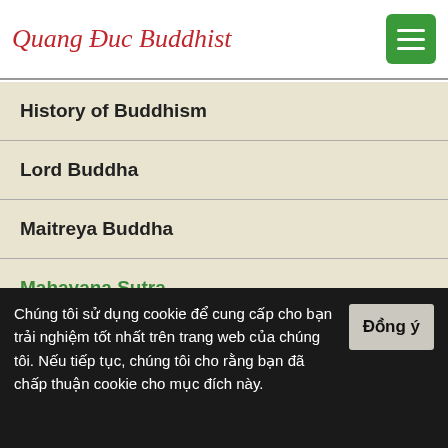Quang Duc Buddhist
History of Buddhism
Lord Buddha
Maitreya Buddha
Mahayana Sutra
Pali Canon
Chúng tôi sử dụng cookie để cung cấp cho bạn trải nghiệm tốt nhất trên trang web của chúng tôi. Nếu tiếp tục, chúng tôi cho rằng bạn đã chấp thuận cookie cho mục đích này.